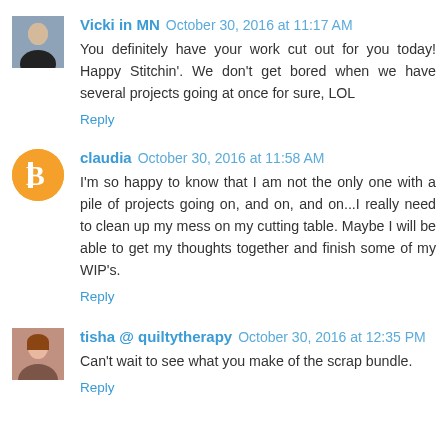Vicki in MN  October 30, 2016 at 11:17 AM
You definitely have your work cut out for you today! Happy Stitchin'. We don't get bored when we have several projects going at once for sure, LOL
Reply
claudia  October 30, 2016 at 11:58 AM
I'm so happy to know that I am not the only one with a pile of projects going on, and on, and on...I really need to clean up my mess on my cutting table. Maybe I will be able to get my thoughts together and finish some of my WIP's.
Reply
tisha @ quiltytherapy  October 30, 2016 at 12:35 PM
Can't wait to see what you make of the scrap bundle.
Reply